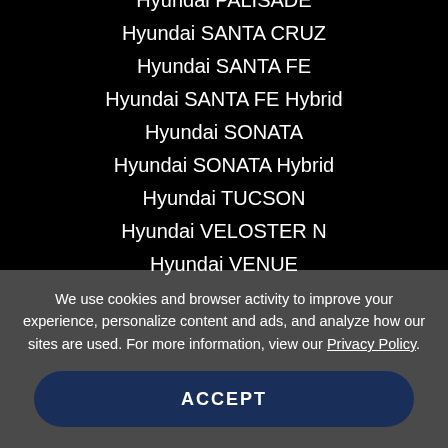Hyundai PALISADE
Hyundai SANTA CRUZ
Hyundai SANTA FE
Hyundai SANTA FE Hybrid
Hyundai SONATA
Hyundai SONATA Hybrid
Hyundai TUCSON
Hyundai VELOSTER N
Hyundai VENUE
We use cookies and browser activity to improve your experience, personalize content and ads, and analyze how our sites are used. For more information, view our Privacy Policy.
ACCEPT